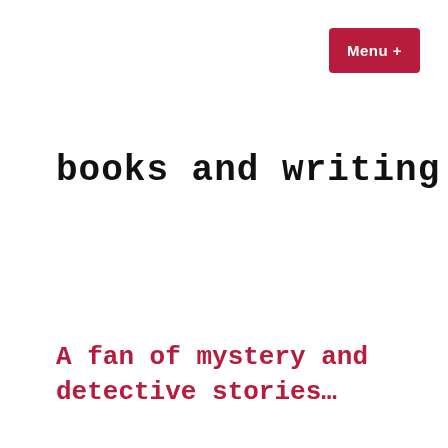Menu +
books and writing
A fan of mystery and detective stories…